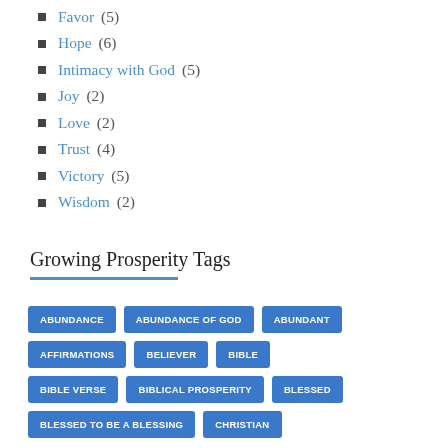Favor (5)
Hope (6)
Intimacy with God (5)
Joy (2)
Love (2)
Trust (4)
Victory (5)
Wisdom (2)
Growing Prosperity Tags
ABUNDANCE  ABUNDANCE OF GOD  ABUNDANT  AFFIRMATIONS  BELIEVER  BIBLE  BIBLE VERSE  BIBLICAL PROSPERITY  BLESSED  BLESSED TO BE A BLESSING  CHRISTIAN